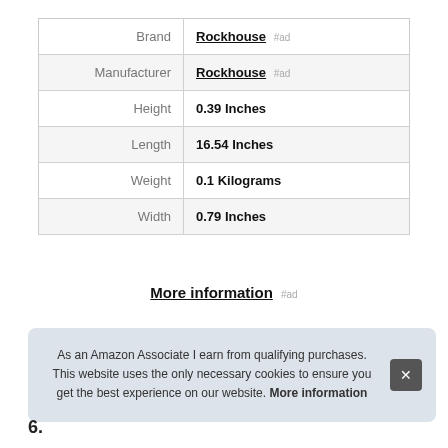| Attribute | Value |
| --- | --- |
| Brand | Rockhouse #ad |
| Manufacturer | Rockhouse #ad |
| Height | 0.39 Inches |
| Length | 16.54 Inches |
| Weight | 0.1 Kilograms |
| Width | 0.79 Inches |
More information #ad
As an Amazon Associate I earn from qualifying purchases. This website uses the only necessary cookies to ensure you get the best experience on our website. More information
6.